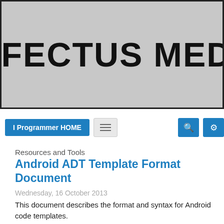EFFECTUS MEDIA
[Figure (screenshot): Navigation bar with 'I Programmer HOME' blue button, hamburger menu button, and blue search and settings icon buttons]
Resources and Tools
Android ADT Template Format Document
Wednesday, 16 October 2013
This document describes the format and syntax for Android code templates.
Last Updated on Tuesday, 08 July 2014
Read more...
Written by Ian Elliot
Wednesday, 27 October 2010
Pong in Javascript